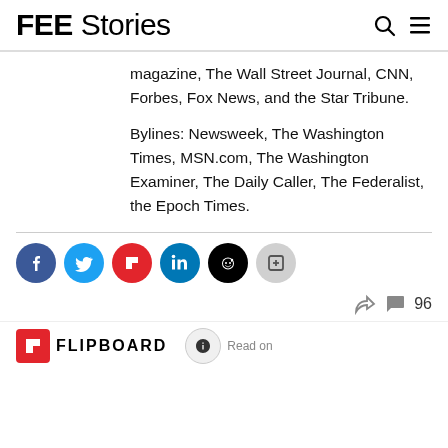FEE Stories
magazine, The Wall Street Journal, CNN, Forbes, Fox News, and the Star Tribune.
Bylines: Newsweek, The Washington Times, MSN.com, The Washington Examiner, The Daily Caller, The Federalist, the Epoch Times.
[Figure (other): Social sharing buttons: Facebook, Twitter, Flipboard, LinkedIn, Reddit, and a share/more button]
[Figure (other): Comment count showing 96 comments with share icon]
[Figure (logo): Flipboard logo (red icon with white F and text FLIPBOARD) and Apple News Read on badge]